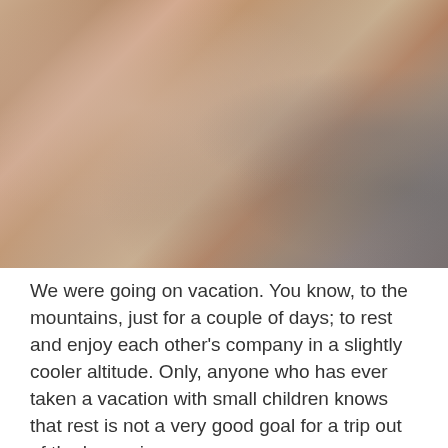[Figure (photo): Close-up photograph of bare feet (adult and child) resting together, likely outdoors on a rocky or sandy surface. The soles and toes are visible in the foreground, with a blurred rocky/gravelly background.]
We were going on vacation. You know, to the mountains, just for a couple of days; to rest and enjoy each other's company in a slightly cooler altitude. Only, anyone who has ever taken a vacation with small children knows that rest is not a very good goal for a trip out of the house in